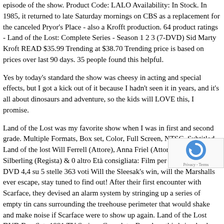episode of the show. Product Code: LALO Availability: In Stock. In 1985, it returned to late Saturday mornings on CBS as a replacement for the canceled Pryor's Place - also a Krofft production. 64 product ratings - Land of the Lost: Complete Series - Season 1 2 3 (7-DVD) Sid Marty Kroft READ $35.99 Trending at $38.70 Trending price is based on prices over last 90 days. 35 people found this helpful.
Yes by today's standard the show was cheesy in acting and special effects, but I got a kick out of it because I hadn't seen it in years, and it's all about dinosaurs and adventure, so the kids will LOVE this, I promise.
Land of the Lost was my favorite show when I was in first and second grade. Multiple Formats, Box set, Color, Full Screen, NTSC, Subtitled. Land of the lost Will Ferrell (Attore), Anna Friel (Attore), Brad Silberling (Regista) & 0 altro Età consigliata: Film per tutti Formato: DVD 4,4 su 5 stelle 363 voti Will the Sleesak's win, will the Marshalls ever escape, stay tuned to find out! After their first encounter with Scarface, they devised an alarm system by stringing up a series of empty tin cans surrounding the treehouse perimeter that would shake and make noise if Scarface were to show up again. Land of the Lost DVD Box Set- 1991 TV Series - Complete. Boy does this bring back memories, My first girlfriend, getting a zepher s... for my birthday, schoolhouse rock and the simple pleasures... of being a 70's child well maybe some of those pleasures were'nt so simple... High on the rapids it struck their raft and plunged them down a
[Figure (other): reCAPTCHA badge with blue circular arrow logo and 'Privacy - Terms' text]